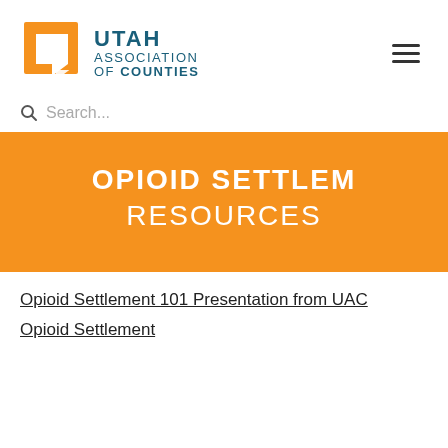[Figure (logo): Utah Association of Counties logo with orange Utah state shape icon and teal bold text reading UTAH ASSOCIATION OF COUNTIES]
Search...
OPIOID SETTLEMENT RESOURCES
Opioid Settlement 101 Presentation from UAC
Opioid Settlement